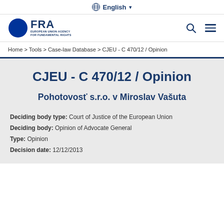English
[Figure (logo): FRA European Union Agency for Fundamental Rights logo with EU flag circle]
Home > Tools > Case-law Database > CJEU - C 470/12 / Opinion
CJEU - C 470/12 / Opinion
Pohotovosť s.r.o. v Miroslav Vašuta
Deciding body type: Court of Justice of the European Union
Deciding body: Opinion of Advocate General
Type: Opinion
Decision date: 12/12/2013